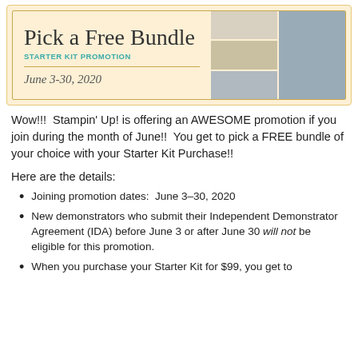[Figure (illustration): Promotional banner for 'Pick a Free Bundle Starter Kit Promotion' dated June 3-30, 2020, with a peach/cream background, decorative border, script title text, teal subtitle, and photos of craft products and people on the right side.]
Wow!!!  Stampin' Up! is offering an AWESOME promotion if you join during the month of June!!  You get to pick a FREE bundle of your choice with your Starter Kit Purchase!!
Here are the details:
Joining promotion dates:  June 3–30, 2020
New demonstrators who submit their Independent Demonstrator Agreement (IDA) before June 3 or after June 30 will not be eligible for this promotion.
When you purchase your Starter Kit for $99, you get to